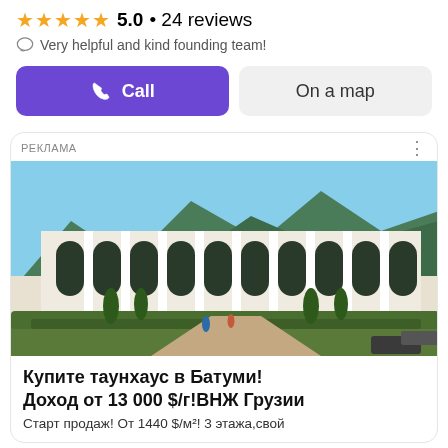★★★★★ 5.0 • 24 reviews
Very helpful and kind founding team!
Call
On a map
РЕКЛАМА
[Figure (photo): Aerial view of a multi-story townhouse complex with Gothic arch windows, surrounded by green hedges and trees, with mountains in the background]
Купите таунхаус в Батуми! Доход от 13 000 $/г!ВНЖ Грузии
Старт продаж! От 1440 $/м²! 3 этажа,свой